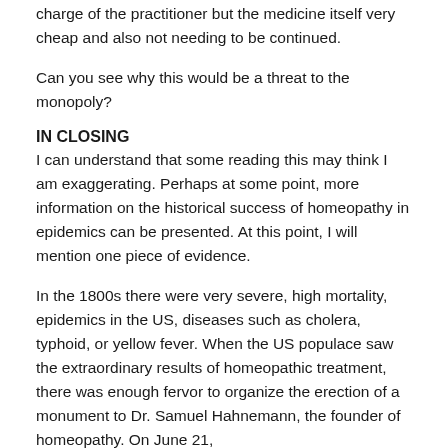charge of the practitioner but the medicine itself very cheap and also not needing to be continued.
Can you see why this would be a threat to the monopoly?
IN CLOSING
I can understand that some reading this may think I am exaggerating. Perhaps at some point, more information on the historical success of homeopathy in epidemics can be presented. At this point, I will mention one piece of evidence.
In the 1800s there were very severe, high mortality, epidemics in the US, diseases such as cholera, typhoid, or yellow fever. When the US populace saw the extraordinary results of homeopathic treatment, there was enough fervor to organize the erection of a monument to Dr. Samuel Hahnemann, the founder of homeopathy. On June 21,